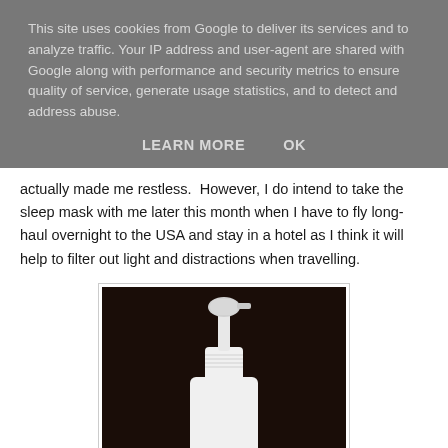This site uses cookies from Google to deliver its services and to analyze traffic. Your IP address and user-agent are shared with Google along with performance and security metrics to ensure quality of service, generate usage statistics, and to detect and address abuse.
LEARN MORE    OK
actually made me restless.  However, I do intend to take the sleep mask with me later this month when I have to fly long-haul overnight to the USA and stay in a hotel as I think it will help to filter out light and distractions when travelling.
[Figure (photo): A white spray bottle with a pump top on a dark brown/black background. Partial label visible at the bottom reading 'umOil' and 'Bet' (partially cut off).]